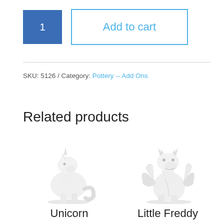1
Add to cart
SKU: 5126 / Category: Pottery -- Add Ons
Related products
[Figure (photo): White ceramic unicorn figurine]
Unicorn
[Figure (photo): White ceramic dragon figurine named Little Freddy]
Little Freddy